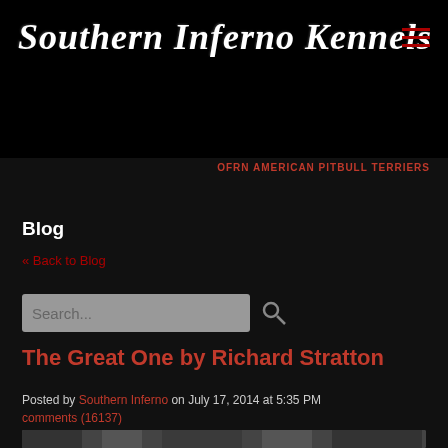[Figure (logo): Southern Inferno Kennels banner logo with gothic white text on black background]
OFRN AMERICAN PITBULL TERRIERS
Blog
« Back to Blog
Search...
The Great One by Richard Stratton
Posted by Southern Inferno on July 17, 2014 at 5:35 PM comments (16137)
[Figure (photo): Black and white photograph partially visible at bottom of page]